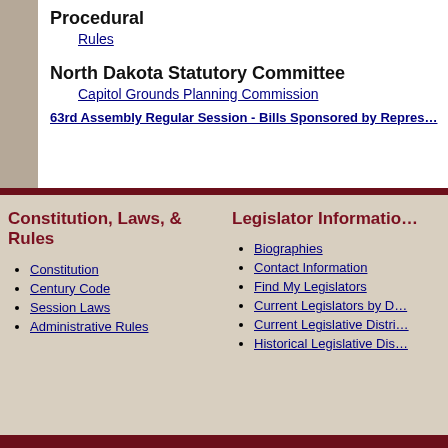Procedural
Rules
North Dakota Statutory Committee
Capitol Grounds Planning Commission
63rd Assembly Regular Session - Bills Sponsored by Repres…
Constitution, Laws, & Rules
Constitution
Century Code
Session Laws
Administrative Rules
Legislator Informatio…
Biographies
Contact Information
Find My Legislators
Current Legislators by D…
Current Legislative Distri…
Historical Legislative Dis…